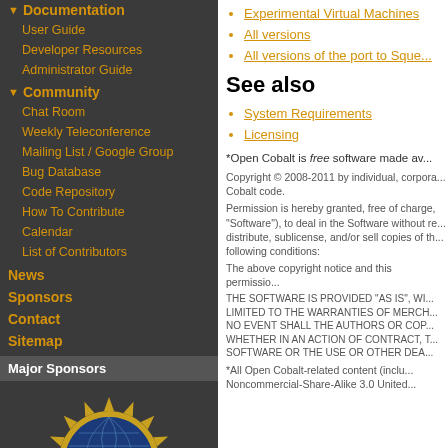Experimental Virtual Machines
All versions
All versions of the port to Sque...
See also
System Requirements
Licensing
*Open Cobalt is free software made av...
Copyright © 2008-2011 by individual, corpora... Cobalt code.
Permission is hereby granted, free of charge, ... following conditions:
The above copyright notice and this permissio...
THE SOFTWARE IS PROVIDED "AS IS", WI... LIMITED TO THE WARRANTIES OF MERCH... NO EVENT SHALL THE AUTHORS OR COP... WHETHER IN AN ACTION OF CONTRACT, ... SOFTWARE OR THE USE OR OTHER DEA...
*All Open Cobalt-related content (inclu... Noncommercial-Share-Alike 3.0 United...
Documentation
User Guide
Developer Resources
Administrator Guide
Community
Chat Room
Weekly Teleconference
Mailing List / Google Group
Bug Database
Code Repository
How To Contribute
Calendar
List of Contributors
News
Sponsors
Contact
Sitemap
Major Sponsors
[Figure (logo): NSF (National Science Foundation) logo — gold starburst/gear border with blue globe center and NSF text]